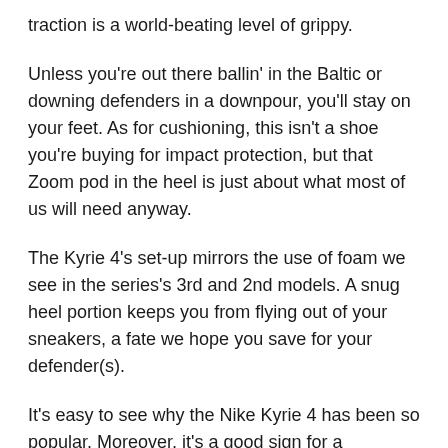traction is a world-beating level of grippy.
Unless you're out there ballin' in the Baltic or downing defenders in a downpour, you'll stay on your feet. As for cushioning, this isn't a shoe you're buying for impact protection, but that Zoom pod in the heel is just about what most of us will need anyway.
The Kyrie 4's set-up mirrors the use of foam we see in the series's 3rd and 2nd models. A snug heel portion keeps you from flying out of your sneakers, a fate we hope you save for your defender(s).
It's easy to see why the Nike Kyrie 4 has been so popular. Moreover, it's a good sign for a performance sneaker market that has been struggling. That being said, the appeal is in more than the listed features.